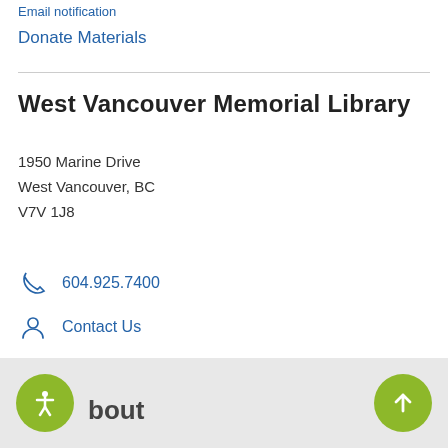Email notification
Donate Materials
West Vancouver Memorial Library
1950 Marine Drive
West Vancouver, BC
V7V 1J8
604.925.7400
Contact Us
Google Map
bout